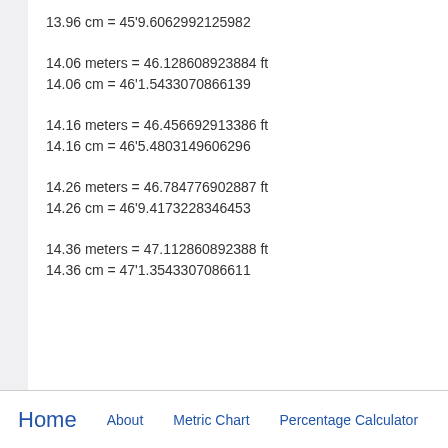13.96 cm = 45'9.6062992125982
14.06 meters = 46.128608923884 ft
14.06 cm = 46'1.5433070866139
14.16 meters = 46.456692913386 ft
14.16 cm = 46'5.4803149606296
14.26 meters = 46.784776902887 ft
14.26 cm = 46'9.4173228346453
14.36 meters = 47.112860892388 ft
14.36 cm = 47'1.3543307086611
Home   About   Metric Chart   Percentage Calculator